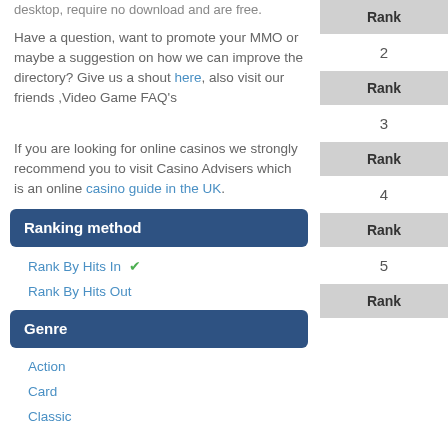desktop, require no download and are free.
Have a question, want to promote your MMO or maybe a suggestion on how we can improve the directory? Give us a shout here, also visit our friends ,Video Game FAQ's
If you are looking for online casinos we strongly recommend you to visit Casino Advisers which is an online casino guide in the UK.
Ranking method
Rank By Hits In ✓
Rank By Hits Out
Genre
Action
Card
Classic
| Rank |  |
| --- | --- |
| 2 |  |
| Rank |  |
| 3 |  |
| Rank |  |
| 4 |  |
| Rank |  |
| 5 |  |
| Rank |  |